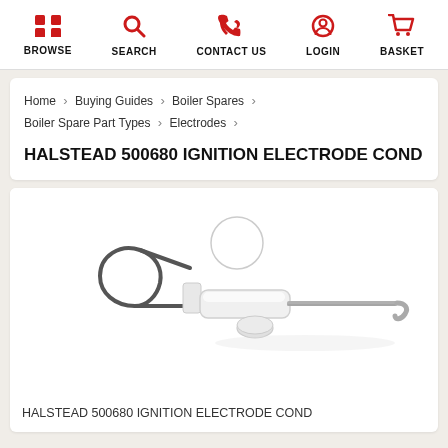BROWSE | SEARCH | CONTACT US | LOGIN | BASKET
Home > Buying Guides > Boiler Spares > Boiler Spare Part Types > Electrodes >
HALSTEAD 500680 IGNITION ELECTRODE COND
[Figure (photo): Photo of Halstead 500680 ignition electrode condenser — a white ceramic cylindrical body with a grey wire loop on the left end and a bent metal rod (electrode pin) on the right end extending horizontally with a small hook at the tip.]
HALSTEAD 500680 IGNITION ELECTRODE COND